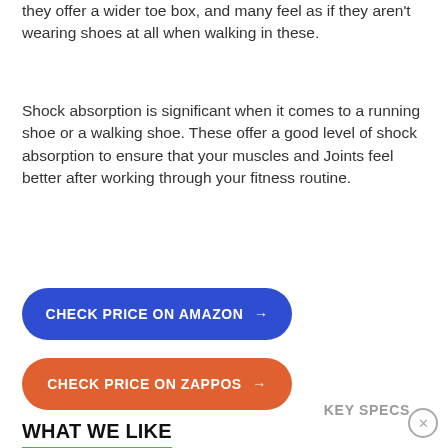they offer a wider toe box, and many feel as if they aren't wearing shoes at all when walking in these.
Shock absorption is significant when it comes to a running shoe or a walking shoe. These offer a good level of shock absorption to ensure that your muscles and Joints feel better after working through your fitness routine.
CHECK PRICE ON AMAZON →
CHECK PRICE ON ZAPPOS →
WHAT WE LIKE
Padded Collar
Many Color Options
KEY SPECS